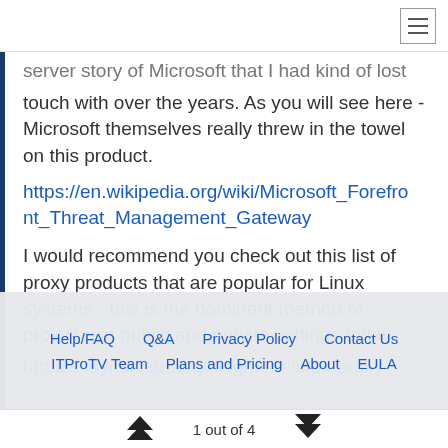[hamburger menu icon]
server story of Microsoft that I had kind of lost touch with over the years. As you will see here - Microsoft themselves really threw in the towel on this product.
https://en.wikipedia.org/wiki/Microsoft_Forefront_Threat_Management_Gateway
I would recommend you check out this list of proxy products that are popular for Linux systems - this is the dominant method of proxying in public and private settings today.
https://itsyndicate.org/blog/best-linux-proxy-ser...
Help/FAQ   Q&A   Privacy Policy   Contact Us   ITProTV Team   Plans and Pricing   About   EULA
1 out of 4